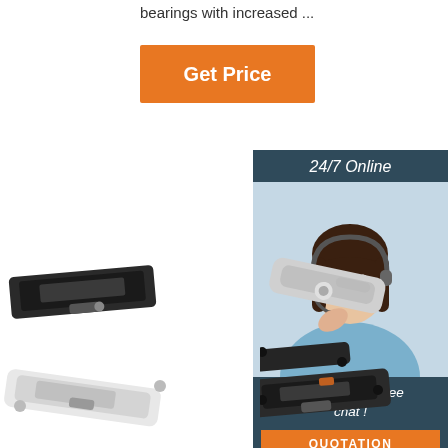bearings with increased ...
Get Price
[Figure (photo): Customer service representative with headset, '24/7 Online' banner, 'Click here for free chat!' text, and QUOTATION button]
[Figure (photo): Four product images: black flush sash lock, white/silver cam lock, white flush bolt, black flush bolt with keeper]
24/7 Online
Click here for free chat !
QUOTATION